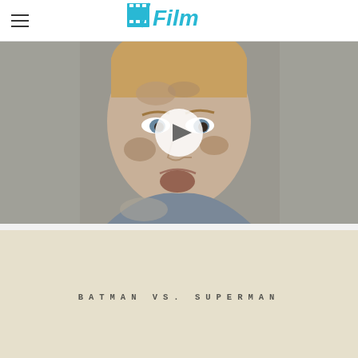/Film
[Figure (photo): Video player showing a close-up of a man's beaten/bruised face with a white play button overlay in the center. The man appears to be in distress, with cuts and dirt on his face.]
[Figure (photo): Movie poster or title card with a beige/cream background showing the text 'BATMAN VS. SUPERMAN' in widely spaced capital letters]